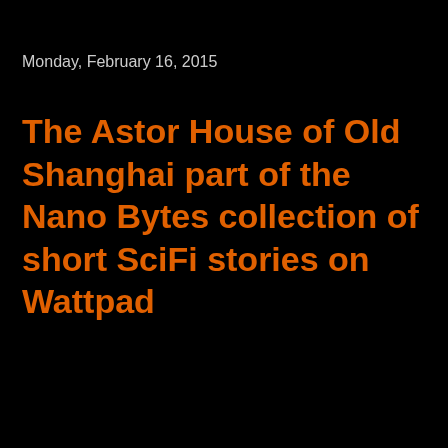Monday, February 16, 2015
The Astor House of Old Shanghai part of the Nano Bytes collection of short SciFi stories on Wattpad